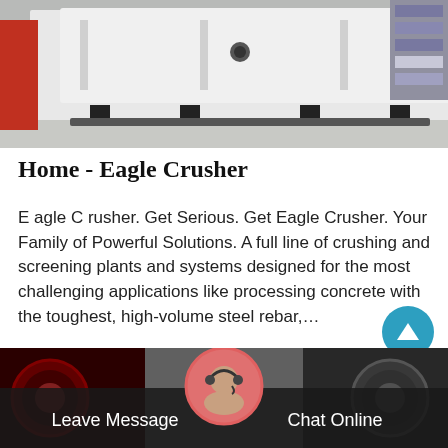[Figure (photo): Industrial machinery/crusher equipment in a warehouse or manufacturing facility. Large white metal machinery on a factory floor with shelving in background.]
Home - Eagle Crusher
E agle C rusher. Get Serious. Get Eagle Crusher. Your Family of Powerful Solutions. A full line of crushing and screening plants and systems designed for the most challenging applications like processing concrete with the toughest, high-volume steel rebar,…
[Figure (screenshot): Teal/green 'Get Price' button]
[Figure (photo): Bottom section showing industrial crusher machinery parts with a customer service representative avatar and Leave Message / Chat Online navigation bar.]